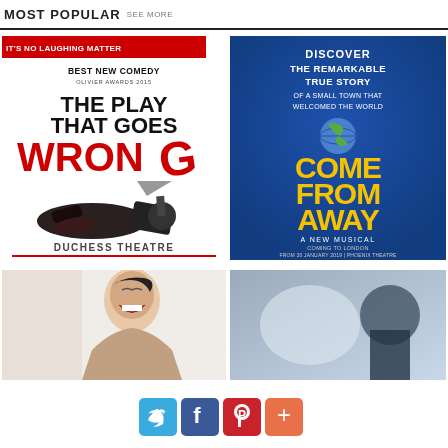MOST POPULAR SEE MORE
[Figure (photo): Theatrical poster for 'The Play That Goes Wrong' at Duchess Theatre, featuring red banner 'IT'S NO LAUGHING MATTER', Best New Comedy Olivier Awards 2015, with fallen figures and stage lights]
[Figure (photo): Theatrical poster for 'Come From Away - A New Musical', blue background with yellow text, 'Discover The Remarkable True Story Of A Small Town That Welcomed The World', Coming to London from 30 January 2019 at Phoenix Theatre]
[Figure (photo): Partial poster showing person laughing, bottom portion visible]
[Figure (photo): Partial blue/grey theatrical poster, partially visible]
[Figure (infographic): Social sharing buttons: Twitter (blue bird), Facebook (f), Pinterest (P), Plus (+)]